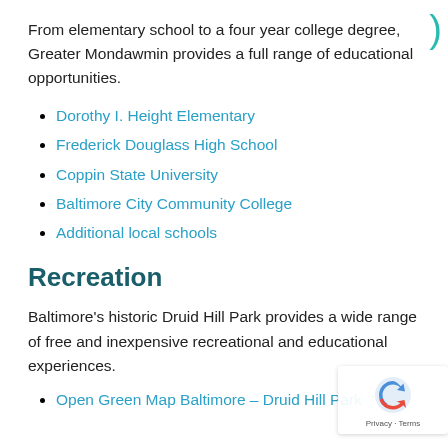From elementary school to a four year college degree, Greater Mondawmin provides a full range of educational opportunities.
Dorothy I. Height Elementary
Frederick Douglass High School
Coppin State University
Baltimore City Community College
Additional local schools
Recreation
Baltimore's historic Druid Hill Park provides a wide range of free and inexpensive recreational and educational experiences.
Open Green Map Baltimore – Druid Hill Park